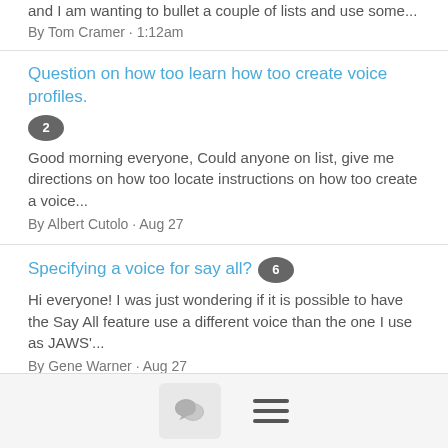and I am wanting to bullet a couple of lists and use some...
By Tom Cramer · 1:12am
Question on how too learn how too create voice profiles. [2]
Good morning everyone, Could anyone on list, give me directions on how too locate instructions on how too create a voice...
By Albert Cutolo · Aug 27
Specifying a voice for say all? [6]
Hi everyone! I was just wondering if it is possible to have the Say All feature use a different voice than the one I use as JAWS'...
By Gene Warner · Aug 27
num pad [17]
Hi, when the num pad is locked on I have the numbers and all, but when I turn if off, the keys do nothing. No enter key, no left...
By Judy · Aug 26
Jaws and Zoom [5]
[chat icon] [menu icon]